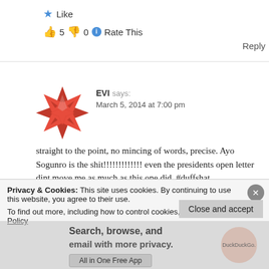★ Like
👍 5 👎 0 ℹ Rate This
Reply
EVI says:
March 5, 2014 at 7:00 pm
straight to the point, no mincing of words, precise. Ayo Sogunro is the shit!!!!!!!!!!!!! even the presidents open letter dint move me as much as this one did. #duffshat
Privacy & Cookies: This site uses cookies. By continuing to use this website, you agree to their use.
To find out more, including how to control cookies, see here: Cookie Policy
Close and accept